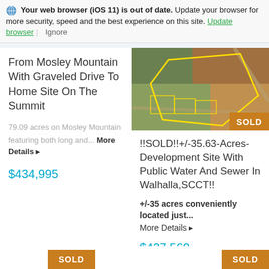Your web browser (iOS 11) is out of date. Update your browser for more security, speed and the best experience on this site. Update browser | Ignore
From Mosley Mountain With Graveled Drive To Home Site On The Summit
79.09 acres on Mosley Mountain featuring both long and... More Details
$434,995
[Figure (photo): Aerial satellite view of land parcel outlined in yellow with SOLD badge in bottom right corner]
!!SOLD!!+/-35.63-Acres-Development Site With Public Water And Sewer In Walhalla,SCCT!!
+/-35 acres conveniently located just... More Details
$427,560
SOLD
SOLD